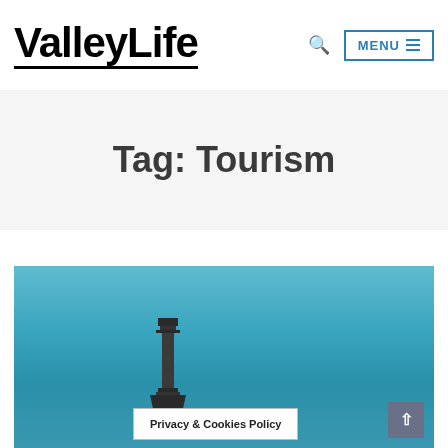ValleyLife
Tag: Tourism
[Figure (photo): Photo of a structure/tower silhouette against a blue sky]
Privacy & Cookies Policy